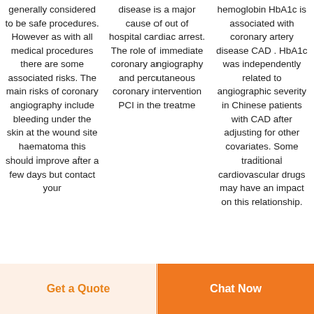generally considered to be safe procedures. However as with all medical procedures there are some associated risks. The main risks of coronary angiography include bleeding under the skin at the wound site haematoma this should improve after a few days but contact your
disease is a major cause of out of hospital cardiac arrest. The role of immediate coronary angiography and percutaneous coronary intervention PCI in the treatme
hemoglobin HbA1c is associated with coronary artery disease CAD . HbA1c was independently related to angiographic severity in Chinese patients with CAD after adjusting for other covariates. Some traditional cardiovascular drugs may have an impact on this relationship.
Get a Quote
Chat Now